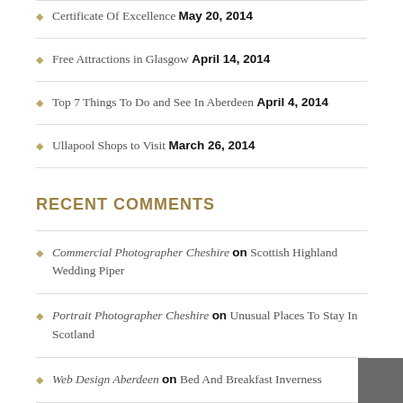Certificate Of Excellence May 20, 2014
Free Attractions in Glasgow April 14, 2014
Top 7 Things To Do and See In Aberdeen April 4, 2014
Ullapool Shops to Visit March 26, 2014
RECENT COMMENTS
Commercial Photographer Cheshire on Scottish Highland Wedding Piper
Portrait Photographer Cheshire on Unusual Places To Stay In Scotland
Web Design Aberdeen on Bed And Breakfast Inverness